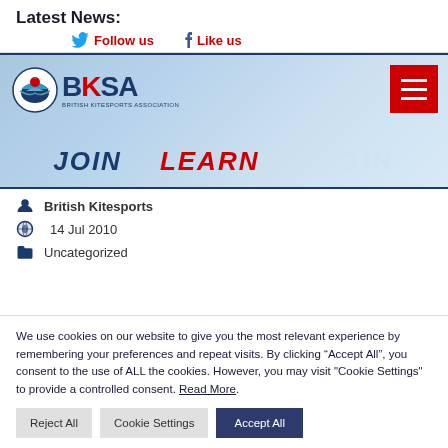Latest News:
Follow us   Like us
[Figure (screenshot): BKSA website banner with logo, navigation buttons JOIN, LEARN, LOGIN, and a hamburger menu button]
British Kitesports
14 Jul 2010
Uncategorized
We use cookies on our website to give you the most relevant experience by remembering your preferences and repeat visits. By clicking “Accept All”, you consent to the use of ALL the cookies. However, you may visit "Cookie Settings" to provide a controlled consent. Read More.